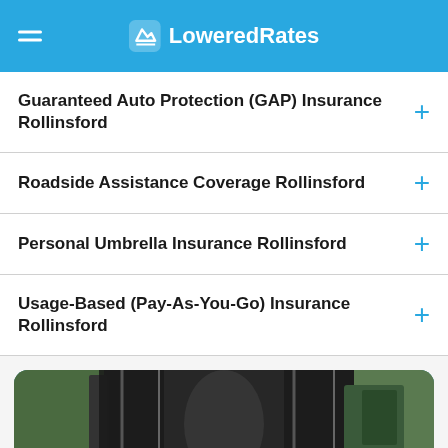LoweredRates
Guaranteed Auto Protection (GAP) Insurance Rollinsford
Roadside Assistance Coverage Rollinsford
Personal Umbrella Insurance Rollinsford
Usage-Based (Pay-As-You-Go) Insurance Rollinsford
[Figure (photo): Photo of a car with open doors, suggesting auto insurance context, displayed in a blue rounded card]